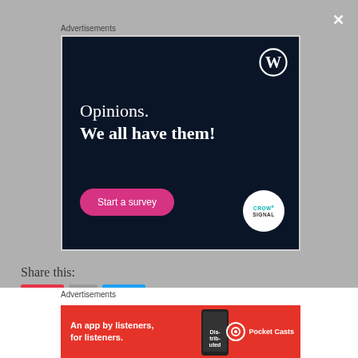Advertisements
[Figure (illustration): WordPress advertisement banner on dark navy background. Shows WordPress logo (W in circle) top right. Text reads 'Opinions. We all have them!' with a pink 'Start a survey' button and Crowdsignal logo circle bottom right.]
Share this:
Advertisements
[Figure (illustration): Pocket Casts advertisement banner. Red background with text 'An app by listeners, for listeners.' with Pocket Casts logo and a phone showing 'Distributed' text.]